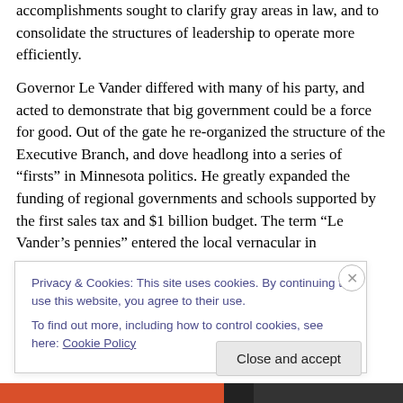accomplishments sought to clarify gray areas in law, and to consolidate the structures of leadership to operate more efficiently.
Governor Le Vander differed with many of his party, and acted to demonstrate that big government could be a force for good. Out of the gate he re-organized the structure of the Executive Branch, and dove headlong into a series of “firsts” in Minnesota politics. He greatly expanded the funding of regional governments and schools supported by the first sales tax and $1 billion budget. The term “Le Vander’s pennies” entered the local vernacular in
Privacy & Cookies: This site uses cookies. By continuing to use this website, you agree to their use.
To find out more, including how to control cookies, see here: Cookie Policy
Close and accept